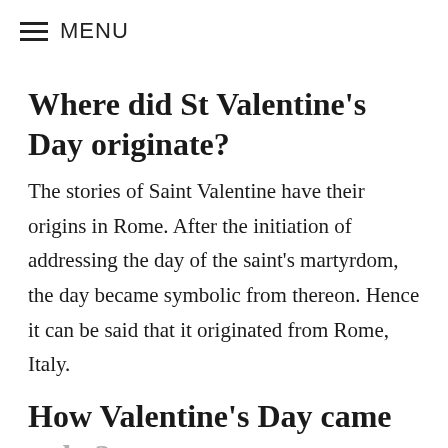≡ MENU
Where did St Valentine's Day originate?
The stories of Saint Valentine have their origins in Rome. After the initiation of addressing the day of the saint's martyrdom, the day became symbolic from thereon. Hence it can be said that it originated from Rome, Italy.
How Valentine's Day came to be?